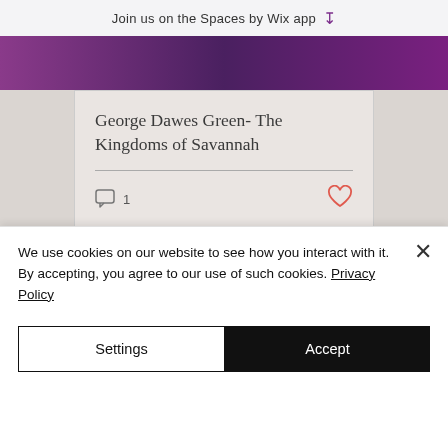Join us on the Spaces by Wix app
George Dawes Green- The Kingdoms of Savannah
1 comment, 1 like
Copyright © 2014 - 2022 Amy's Bookshelf Reviews, United States
We use cookies on our website to see how you interact with it. By accepting, you agree to our use of such cookies. Privacy Policy
Settings
Accept